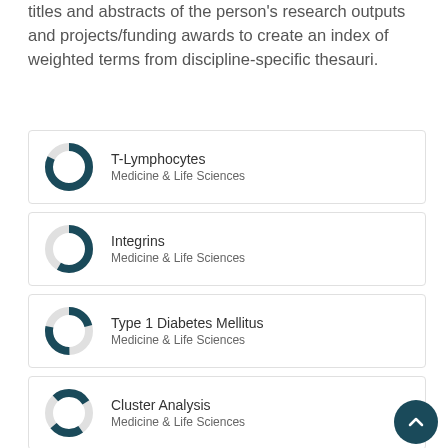titles and abstracts of the person's research outputs and projects/funding awards to create an index of weighted terms from discipline-specific thesauri.
T-Lymphocytes — Medicine & Life Sciences
Integrins — Medicine & Life Sciences
Type 1 Diabetes Mellitus — Medicine & Life Sciences
Cluster Analysis — Medicine & Life Sciences
Src-Family Kinases — Medicine & Life Sciences